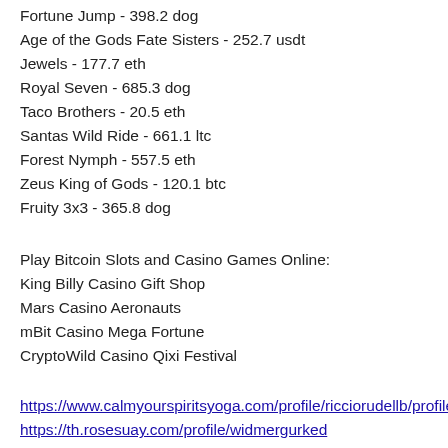Fortune Jump - 398.2 dog
Age of the Gods Fate Sisters - 252.7 usdt
Jewels - 177.7 eth
Royal Seven - 685.3 dog
Taco Brothers - 20.5 eth
Santas Wild Ride - 661.1 ltc
Forest Nymph - 557.5 eth
Zeus King of Gods - 120.1 btc
Fruity 3x3 - 365.8 dog
Play Bitcoin Slots and Casino Games Online:
King Billy Casino Gift Shop
Mars Casino Aeronauts
mBit Casino Mega Fortune
CryptoWild Casino Qixi Festival
https://www.calmyourspiritsyoga.com/profile/ricciorudellb/profile
https://th.rosesuay.com/profile/widmergurked